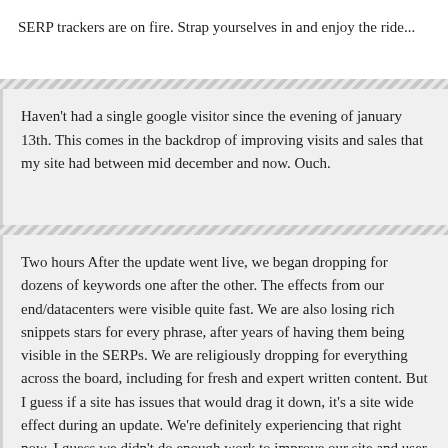SERP trackers are on fire. Strap yourselves in and enjoy the ride...
Haven't had a single google visitor since the evening of january 13th. This comes in the backdrop of improving visits and sales that my site had between mid december and now. Ouch.
Two hours After the update went live, we began dropping for dozens of keywords one after the other. The effects from our end/datacenters were visible quite fast. We are also losing rich snippets stars for every phrase, after years of having them being visible in the SERPs. We are religiously dropping for everything across the board, including for fresh and expert written content. But I guess if a site has issues that would drag it down, it's a site wide effect during an update. We're definitely experiencing that right now. I guess we didn't do enough work to improve our site and user experience. If I'm being honest and objective with respect to our site, in theory, I can see why it's dropping. Unpleasant but it's the reality. Need to work harder.